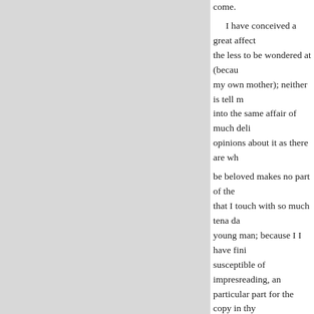come. I have conceived a great affect the less to be wondered at (becau my own mother); neither is tell m into the same affair of much deli opinions about it as there are wh be beloved makes no part of the that I touch with so much tena da young man; because I I have fini susceptible of impresreading, an particular part for the copy in thy a there is no need to hurry. coxcomb, from which character distance than any young man I w know, it shall never be said that gain nothing by me but the honour of being much valued by can do you no good while he live you when he dies. If you can be me on these conditions, so you b advantageous than from you. All propose, I will readily sacrifice